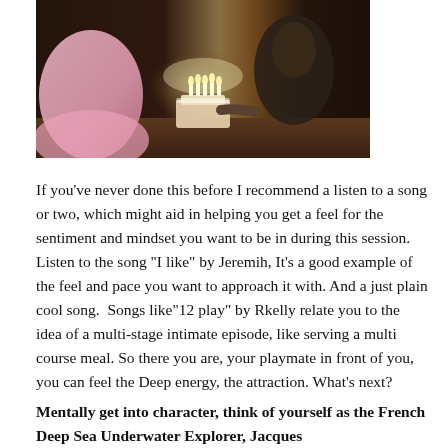[Figure (photo): A photo of two people near a birthday cake with lit candles; one person wearing a pink dress, warm dark background]
If you’ve never done this before I recommend a listen to a song or two, which might aid in helping you get a feel for the sentiment and mindset you want to be in during this session. Listen to the song “I like” by Jeremih, It’s a good example of the feel and pace you want to approach it with. And a just plain cool song.  Songs like“12 play” by Rkelly relate you to the idea of a multi-stage intimate episode, like serving a multi course meal. So there you are, your playmate in front of you, you can feel the Deep energy, the attraction. What’s next?
Mentally get into character, think of yourself as the French Deep Sea Underwater Explorer, Jacques